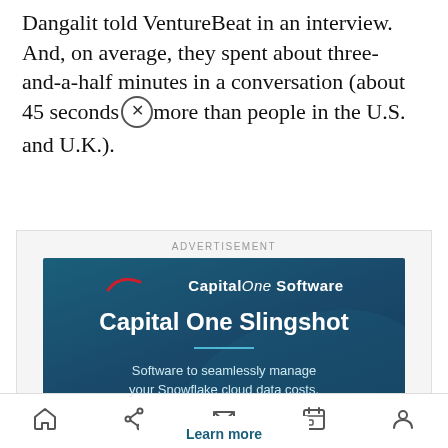Dangalit told VentureBeat in an interview. And, on average, they spent about three-and-a-half minutes in a conversation (about 45 seconds more than people in the U.S. and U.K.).
[Figure (infographic): Capital One Software advertisement banner featuring 'Capital One Slingshot' headline, swoosh logo, subtitle 'Software to seamlessly manage your Snowflake cloud data costs.' and a 'Learn more' button, with a close (X) button overlay in the top-right corner.]
Navigation bar with home, share, mail, calendar, and profile icons